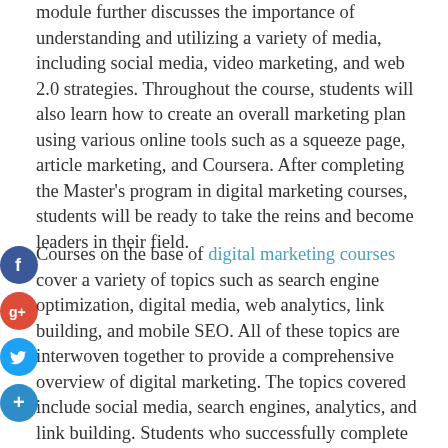module further discusses the importance of understanding and utilizing a variety of media, including social media, video marketing, and web 2.0 strategies. Throughout the course, students will also learn how to create an overall marketing plan using various online tools such as a squeeze page, article marketing, and Coursera. After completing the Master's program in digital marketing courses, students will be ready to take the reins and become leaders in their field.
Courses on the base of digital marketing courses cover a variety of topics such as search engine optimization, digital media, web analytics, link building, and mobile SEO. All of these topics are interwoven together to provide a comprehensive overview of digital marketing. The topics covered include social media, search engines, analytics, and link building. Students who successfully complete the course are given detailed statistics that allow them to accurately track the success of their campaigns.